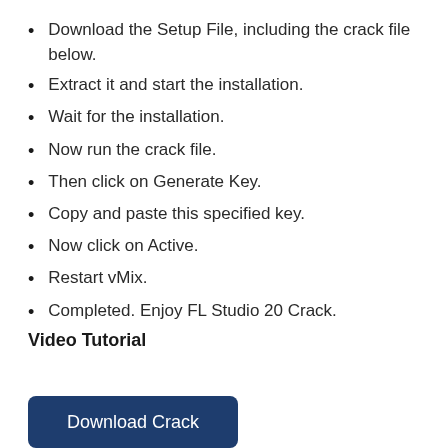Download the Setup File, including the crack file below.
Extract it and start the installation.
Wait for the installation.
Now run the crack file.
Then click on Generate Key.
Copy and paste this specified key.
Now click on Active.
Restart vMix.
Completed. Enjoy FL Studio 20 Crack.
Video Tutorial
[Figure (other): Download Crack button — a dark navy blue rounded rectangle button with white text reading 'Download Crack']